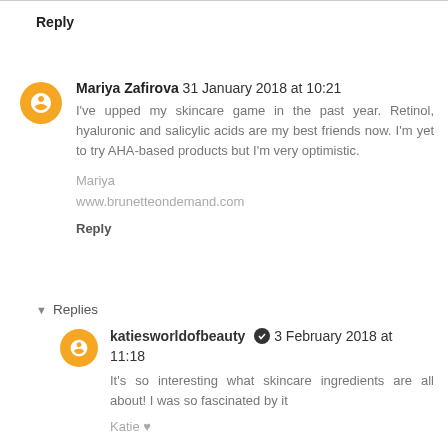Reply
Mariya Zafirova 31 January 2018 at 10:21
I've upped my skincare game in the past year. Retinol, hyaluronic and salicylic acids are my best friends now. I'm yet to try AHA-based products but I'm very optimistic.
Mariya
www.brunetteondemand.com
Reply
Replies
katiesworldofbeauty  3 February 2018 at 11:18
It's so interesting what skincare ingredients are all about! I was so fascinated by it
Katie ♥